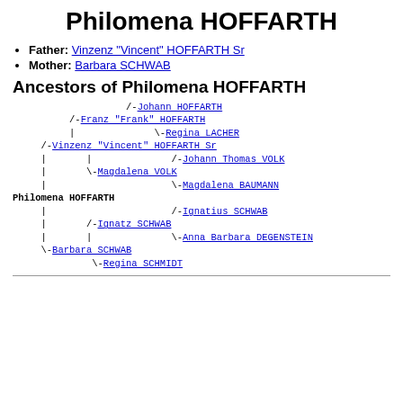Philomena HOFFARTH
Father: Vinzenz "Vincent" HOFFARTH Sr
Mother: Barbara SCHWAB
Ancestors of Philomena HOFFARTH
[Figure (organizational-chart): Genealogy ancestor tree for Philomena HOFFARTH showing parents, grandparents, and great-grandparents on both paternal and maternal sides. Paternal line: Franz "Frank" HOFFARTH (parents: Johann HOFFARTH, Regina LACHER), Vinzenz "Vincent" HOFFARTH Sr (paternal: Franz "Frank" HOFFARTH; maternal: Magdalena VOLK, parents: Johann Thomas VOLK, Magdalena BAUMANN). Maternal line: Barbara SCHWAB (father: Ignatz SCHWAB, parents: Ignatius SCHWAB, Anna Barbara DEGENSTEIN; mother: Regina SCHMIDT).]